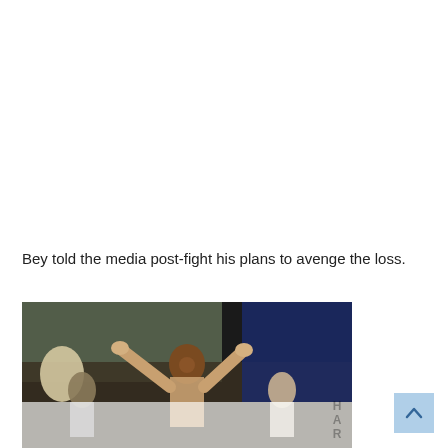Bey told the media post-fight his plans to avenge the loss.
[Figure (photo): A boxer with arms raised in victory celebration, surrounded by his corner team in an arena setting. The lower portion of the image fades to white. Partial watermark text visible at the right edge.]